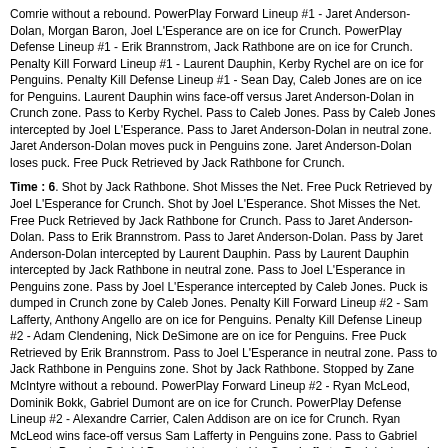Comrie without a rebound. PowerPlay Forward Lineup #1 - Jaret Anderson-Dolan, Morgan Baron, Joel L'Esperance are on ice for Crunch. PowerPlay Defense Lineup #1 - Erik Brannstrom, Jack Rathbone are on ice for Crunch. Penalty Kill Forward Lineup #1 - Laurent Dauphin, Kerby Rychel are on ice for Penguins. Penalty Kill Defense Lineup #1 - Sean Day, Caleb Jones are on ice for Penguins. Laurent Dauphin wins face-off versus Jaret Anderson-Dolan in Crunch zone. Pass to Kerby Rychel. Pass to Caleb Jones. Pass by Caleb Jones intercepted by Joel L'Esperance. Pass to Jaret Anderson-Dolan in neutral zone. Jaret Anderson-Dolan moves puck in Penguins zone. Jaret Anderson-Dolan loses puck. Free Puck Retrieved by Jack Rathbone for Crunch.
Time : 6. Shot by Jack Rathbone. Shot Misses the Net. Free Puck Retrieved by Joel L'Esperance for Crunch. Shot by Joel L'Esperance. Shot Misses the Net. Free Puck Retrieved by Jack Rathbone for Crunch. Pass to Jaret Anderson-Dolan. Pass to Erik Brannstrom. Pass to Jaret Anderson-Dolan. Pass by Jaret Anderson-Dolan intercepted by Laurent Dauphin. Pass by Laurent Dauphin intercepted by Jack Rathbone in neutral zone. Pass to Joel L'Esperance in Penguins zone. Pass by Joel L'Esperance intercepted by Caleb Jones. Puck is dumped in Crunch zone by Caleb Jones. Penalty Kill Forward Lineup #2 - Sam Lafferty, Anthony Angello are on ice for Penguins. Penalty Kill Defense Lineup #2 - Adam Clendening, Nick DeSimone are on ice for Penguins. Free Puck Retrieved by Erik Brannstrom. Pass to Joel L'Esperance in neutral zone. Pass to Jack Rathbone in Penguins zone. Shot by Jack Rathbone. Stopped by Zane McIntyre without a rebound. PowerPlay Forward Lineup #2 - Ryan McLeod, Dominik Bokk, Gabriel Dumont are on ice for Crunch. PowerPlay Defense Lineup #2 - Alexandre Carrier, Calen Addison are on ice for Crunch. Ryan McLeod wins face-off versus Sam Lafferty in Penguins zone. Pass to Gabriel Dumont. Pass by Gabriel Dumont intercepted by Sam Lafferty. Puck is dumped in Crunch zone by Sam Lafferty. Penalty Kill Forward Lineup #1 - Laurent Dauphin, Kerby Rychel are on ice for Penguins. Free Puck Retrieved by Ryan McLeod. Pass to Alexandre Carrier. Pass to Gabriel Dumont. Gabriel Dumont moves puck in neutral zone. Pass by Gabriel Dumont intercepted by Adam Clendening in Penguins zone. Puck is dumped in Crunch zone by Adam Clendening. Penalty Kill Forward Lineup #2 - Sam Lafferty, Anthony Angello are on ice for Penguins. Penalty Kill Defense Lineup #1 - Sean Day, Caleb Jones are on ice for Penguins. Free Puck Retrieved by Eric Comrie. Pass to Gabriel Dumont. Pass to Ryan McLeod in neutral zone. Pass to Alexandre Carrier in Penguins zone. Pass to Gabriel Dumont.
Time : 7. Pass to Dominik Bokk. Shot by Dominik Bokk. Stopped by Zane McIntyre without a rebound. PowerPlay Forward Lineup #1 - Jaret Anderson-Dolan, Morgan Baron, Joel L'Esperance are on ice for Crunch. PowerPlay Defense Lineup #1 - Erik Brannstrom, Jack